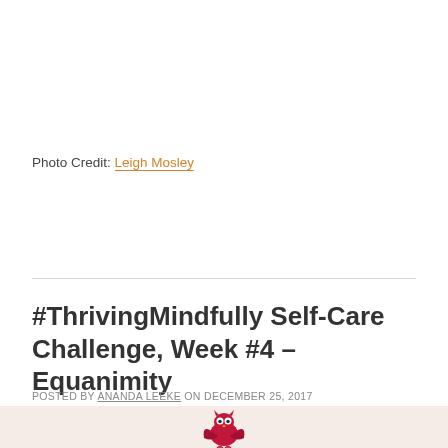Photo Credit: Leigh Mosley
#ThrivingMindfully Self-Care Challenge, Week #4 – Equanimity
POSTED BY ANANDA LEEKE ON DECEMBER 25, 2017 IN #THRIVINGMINDFULLY, UNCATEGORIZED — LEAVE A COMMENT
[Figure (illustration): Partial view of a red/crimson decorative owl or bird illustration on a light beige/cream background strip at the bottom of the page.]